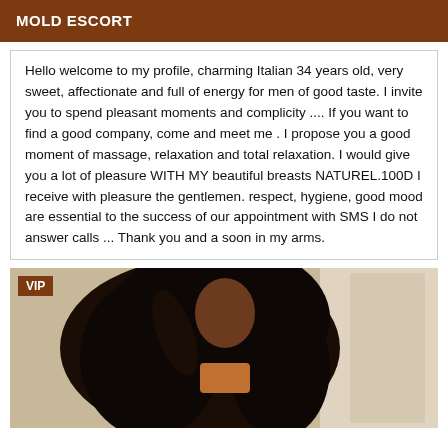MOLD ESCORT
Hello welcome to my profile, charming Italian 34 years old, very sweet, affectionate and full of energy for men of good taste. I invite you to spend pleasant moments and complicity .... If you want to find a good company, come and meet me . I propose you a good moment of massage, relaxation and total relaxation. I would give you a lot of pleasure WITH MY beautiful breasts NATUREL.100D I receive with pleasure the gentlemen. respect, hygiene, good mood are essential to the success of our appointment with SMS I do not answer calls ... Thank you and a soon in my arms.
[Figure (photo): Photo of a woman with long curly dark hair wearing a black outfit, with a VIP badge overlay in the top-left corner.]